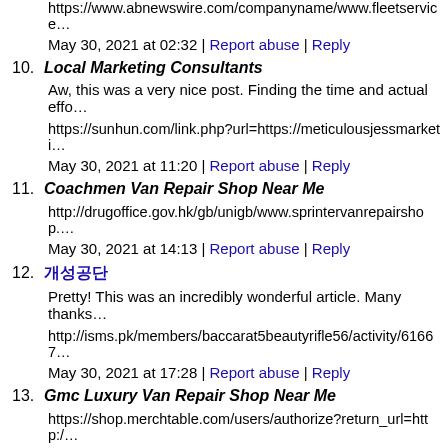https://www.abnewswire.com/companyname/www.fleetservice…
May 30, 2021 at 02:32 | Report abuse | Reply
10. Local Marketing Consultants
Aw, this was a very nice post. Finding the time and actual effo…
https://sunhun.com/link.php?url=https://meticulousjessmarketi…
May 30, 2021 at 11:20 | Report abuse | Reply
11. Coachmen Van Repair Shop Near Me
http://drugoffice.gov.hk/gb/unigb/www.sprintervanrepairshop.…
May 30, 2021 at 14:13 | Report abuse | Reply
12. 개성공단
Pretty! This was an incredibly wonderful article. Many thanks…
http://isms.pk/members/baccarat5beautyrifle56/activity/61667…
May 30, 2021 at 17:28 | Report abuse | Reply
13. Gmc Luxury Van Repair Shop Near Me
https://shop.merchtable.com/users/authorize?return_url=http:/…